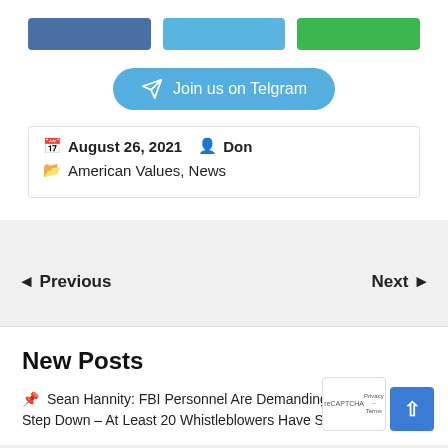[Figure (other): Three social share buttons: dark blue, light blue, and green]
[Figure (other): Telegram join button with arrow icon reading 'Join us on Telgram']
August 26, 2021  Don
American Values, News
◄ Previous	Next ►
New Posts
Sean Hannity: FBI Personnel Are Demanding Ch... Step Down – At Least 20 Whistleblowers Have Stepped